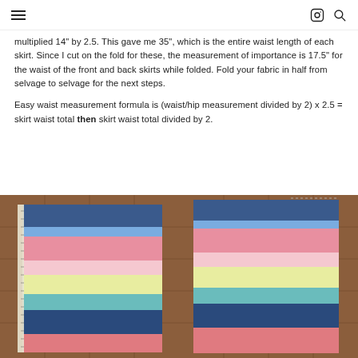≡   [instagram icon] [search icon]
multiplied 14" by 2.5. This gave me 35", which is the entire waist length of each skirt. Since I cut on the fold for these, the measurement of importance is 17.5" for the waist of the front and back skirts while folded. Fold your fabric in half from selvage to selvage for the next steps.
Easy waist measurement formula is (waist/hip measurement divided by 2) x 2.5 = skirt waist total then skirt waist total divided by 2.
[Figure (photo): Left photo of colorful striped fabric (blue, pink, yellow-green, teal, dark blue, salmon) folded and laid on a tile floor, with a measuring tape along the left edge.]
[Figure (photo): Right photo of the same colorful striped fabric folded and laid on a tile floor, slightly different angle, no measuring tape visible.]